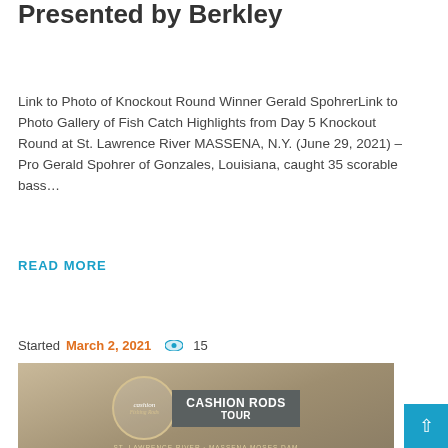Presented by Berkley
Link to Photo of Knockout Round Winner Gerald SpohrerLink to Photo Gallery of Fish Catch Highlights from Day 5 Knockout Round at St. Lawrence River MASSENA, N.Y. (June 29, 2021) – Pro Gerald Spohrer of Gonzales, Louisiana, caught 35 scorable bass…
READ MORE
Started March 2, 2021  15
[Figure (photo): Event promotional image for Cashion Rods Tour at St. Lawrence River / Massena Moses Dam, September 18th, 2021. Shows Cashion Fishing Rods logo circle, a dark box reading CASHION RODS TOUR, subtitle text ST. LAWRENCE RIVER / MASSENA MOSES DAM, large text SEPTEMBER 18TH, 2021, and Massena logo at bottom.]